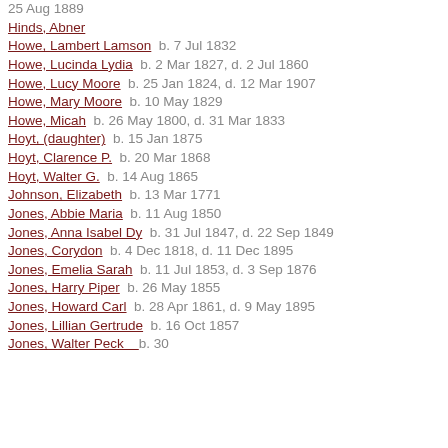25 Aug 1889
Hinds, Abner
Howe, Lambert Lamson  b. 7 Jul 1832
Howe, Lucinda Lydia  b. 2 Mar 1827, d. 2 Jul 1860
Howe, Lucy Moore  b. 25 Jan 1824, d. 12 Mar 1907
Howe, Mary Moore  b. 10 May 1829
Howe, Micah  b. 26 May 1800, d. 31 Mar 1833
Hoyt, (daughter)  b. 15 Jan 1875
Hoyt, Clarence P.  b. 20 Mar 1868
Hoyt, Walter G.  b. 14 Aug 1865
Johnson, Elizabeth  b. 13 Mar 1771
Jones, Abbie Maria  b. 11 Aug 1850
Jones, Anna Isabel Dy  b. 31 Jul 1847, d. 22 Sep 1849
Jones, Corydon  b. 4 Dec 1818, d. 11 Dec 1895
Jones, Emelia Sarah  b. 11 Jul 1853, d. 3 Sep 1876
Jones, Harry Piper  b. 26 May 1855
Jones, Howard Carl  b. 28 Apr 1861, d. 9 May 1895
Jones, Lillian Gertrude  b. 16 Oct 1857
Jones, Walter Peck  b. ...